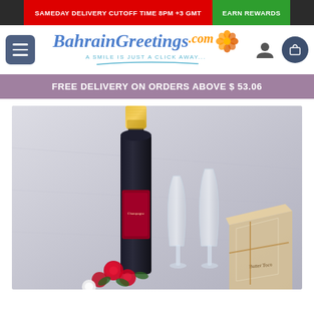SAMEDAY DELIVERY CUTOFF TIME 8PM +3 GMT | EARN REWARDS
[Figure (logo): BahrainGreetings.com logo with flower icon and tagline 'A SMILE IS JUST A CLICK AWAY...']
FREE DELIVERY ON ORDERS ABOVE $ 53.06
[Figure (photo): Product photo showing a champagne bottle with gold foil neck, two clear stemless champagne flutes, red roses, and a wrapped pastry/cookie gift set on a light grey background.]